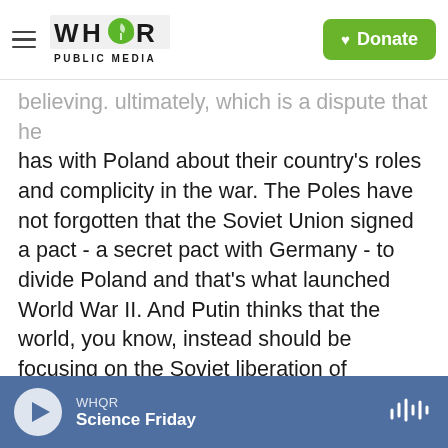WHQR PUBLIC MEDIA | Donate
believing. ultimately, which is a dispute that he has with Poland about their country's roles and complicity in the war. The Poles have not forgotten that the Soviet Union signed a pact - a secret pact with Germany - to divide Poland and that's what launched World War II. And Putin thinks that the world, you know, instead should be focusing on the Soviet liberation of Auschwitz. So at his - in his speech in Jerusalem, Putin said the Soviet Union lost more people than any other nation in World War II.
He accused countries - some countries of cynically manipulating the war for political ends today. You
WHQR | Science Friday